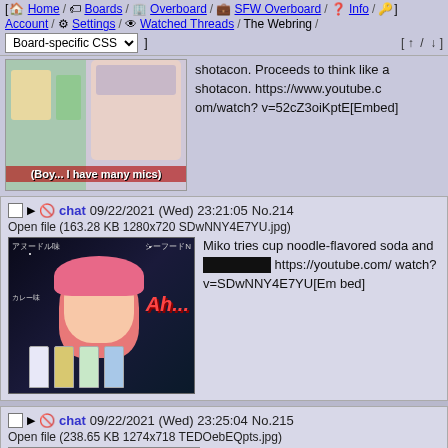[ Home / Boards / Overboard / SFW Overboard / Info / Account / Settings / Watched Threads / The Webring / Board-specific CSS ] [ ↑ / ↓ ]
[Figure (screenshot): Partial post showing anime image with text '(Boy... I have many mics)' and post text about shotacon with YouTube link]
shotacon. Proceeds to think like a shotacon. https://www.youtube.com/watch?v=52cZ3oiKptE[Embed]
chat 09/22/2021 (Wed) 23:21:05 No.214
Open file (163.28 KB 1280x720 SDwNNY4E7YU.jpg)
[Figure (screenshot): Anime girl with pink hair drinking from bottles, text 'Ah...' overlaid]
Miko tries cup noodle-flavored soda and [censored] https://youtube.com/watch?v=SDwNNY4E7YU[Embed]
chat 09/22/2021 (Wed) 23:25:04 No.215
Open file (238.65 KB 1274x718 TEDOebEQpts.jpg)